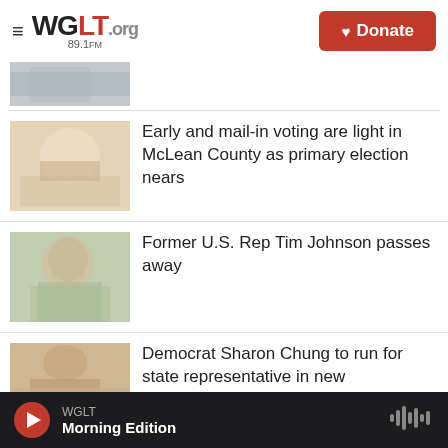WGLT.org 89.1FM — Donate
[Figure (photo): Partial cropped image at top of news item (above fold)]
Early and mail-in voting are light in McLean County as primary election nears
Former U.S. Rep Tim Johnson passes away
Democrat Sharon Chung to run for state representative in new
WGLT Morning Edition (audio player bar)